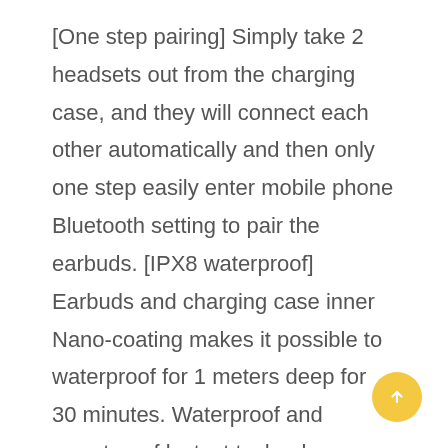[One step pairing] Simply take 2 headsets out from the charging case, and they will connect each other automatically and then only one step easily enter mobile phone Bluetooth setting to pair the earbuds. [IPX8 waterproof] Earbuds and charging case inner Nano-coating makes it possible to waterproof for 1 meters deep for 30 minutes. Waterproof and sweatproof lastest technology can effectively prevent from the damage of the splash by sweat and raindrops. [Charge on the go] Playtime lasts for over 6